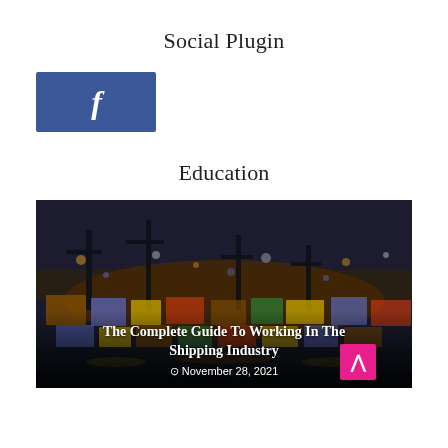Social Plugin
[Figure (logo): Facebook social plugin button — blue rectangle with white italic f logo]
Education
[Figure (photo): Night-time photograph of a shipping port with cranes and illuminated cargo containers, bokeh lighting effect]
The Complete Guide To Working In The Shipping Industry
November 28, 2021